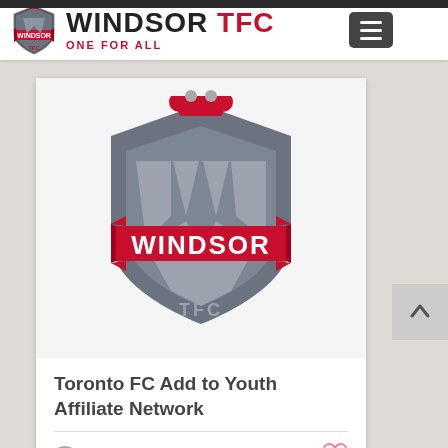WINDSOR TFC ONE FOR ALL
See All
[Figure (logo): Windsor TFC shield logo — pink/red and grey shield with crown top, large stylized W in the center, 'WINDSOR' banner across middle, 'TFC' text at bottom]
Toronto FC Add to Youth Affiliate Network
382